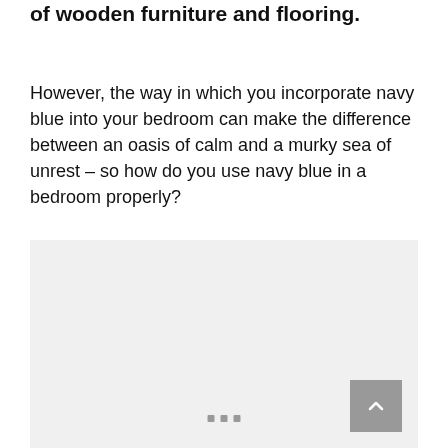of wooden furniture and flooring.
However, the way in which you incorporate navy blue into your bedroom can make the difference between an oasis of calm and a murky sea of unrest – so how do you use navy blue in a bedroom properly?
[Figure (photo): A placeholder image area with a light gray background, containing navigation dots at the bottom and a scroll-to-top button in the bottom right corner.]